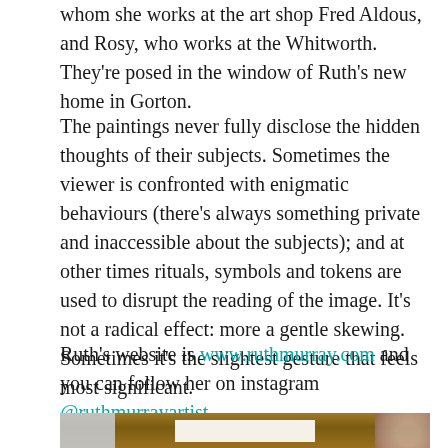whom she works at the art shop Fred Aldous, and Rosy, who works at the Whitworth. They're posed in the window of Ruth's new home in Gorton.
The paintings never fully disclose the hidden thoughts of their subjects. Sometimes the viewer is confronted with enigmatic behaviours (there's always something private and inaccessible about the subjects); and at other times rituals, symbols and tokens are used to disrupt the reading of the image. It's not a radical effect: more a gentle skewing. Sometimes it's the slightest gesture that feels most significant.
Ruth's website is www.ruthmurray.com and you can follow her on instagram @ruthmurrayartist
[Figure (photo): Partial photo of a wooden table surface with a white card/paper in the center, a grey cloth on the left, and a decorative bowl on the right]